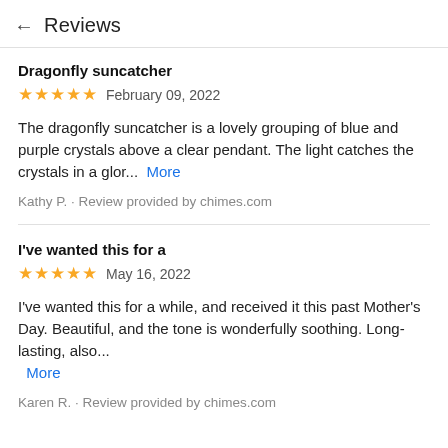← Reviews
Dragonfly suncatcher
★★★★★  February 09, 2022
The dragonfly suncatcher is a lovely grouping of blue and purple crystals above a clear pendant. The light catches the crystals in a glor...  More
Kathy P. · Review provided by chimes.com
I've wanted this for a
★★★★★  May 16, 2022
I've wanted this for a while, and received it this past Mother's Day. Beautiful, and the tone is wonderfully soothing. Long-lasting, also...  More
Karen R. · Review provided by chimes.com